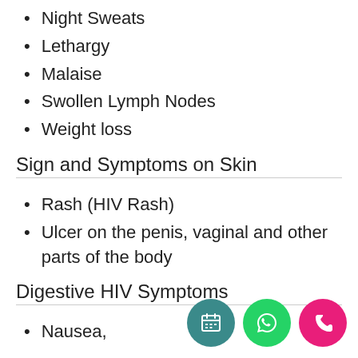Night Sweats
Lethargy
Malaise
Swollen Lymph Nodes
Weight loss
Sign and Symptoms on Skin
Rash (HIV Rash)
Ulcer on the penis, vaginal and other parts of the body
Digestive HIV Symptoms
Nausea,